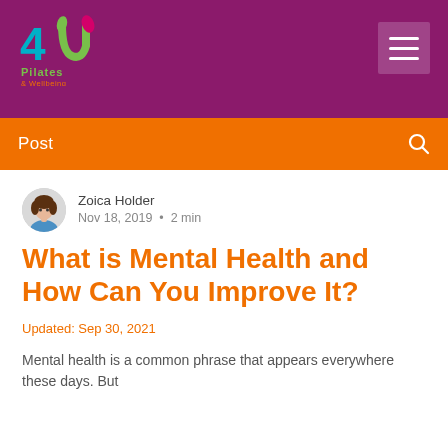[Figure (logo): 4U Pilates & Wellbeing logo with colorful stylized numbers and text, on purple background with hamburger menu button]
Post
Zoica Holder
Nov 18, 2019  •  2 min
What is Mental Health and How Can You Improve It?
Updated: Sep 30, 2021
Mental health is a common phrase that appears everywhere these days. But